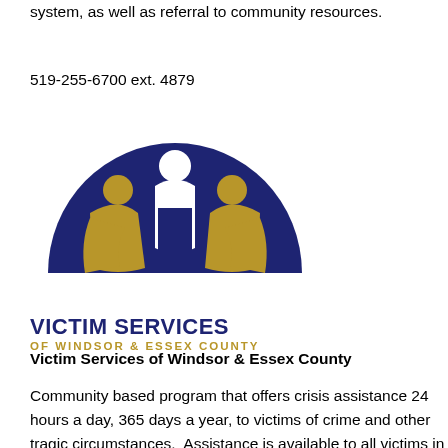system, as well as referral to community resources.
519-255-6700 ext. 4879
[Figure (logo): Victim Services of Windsor & Essex County logo: dark navy blue semicircle with three gold and white stylized human figures underneath, with organization name in navy bold text and gold smaller text]
Victim Services of Windsor & Essex County
Community based program that offers crisis assistance 24 hours a day, 365 days a year, to victims of crime and other tragic circumstances. Assistance is available to all victims in Windsor &